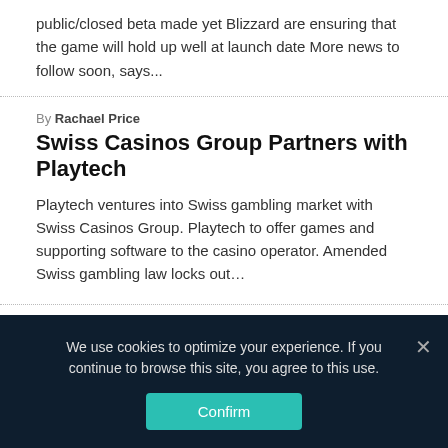public/closed beta made yet Blizzard are ensuring that the game will hold up well at launch date More news to follow soon, says...
By Rachael Price
Swiss Casinos Group Partners with Playtech
Playtech ventures into Swiss gambling market with Swiss Casinos Group. Playtech to offer games and supporting software to the casino operator. Amended Swiss gambling law locks out...
By Simon Deloit
Mobile Sports Betting Finally Coming to Indiana
On September 1, retails sports betting debuted in Indiana and since then a lot of anticipation has built up with regards to mobile sports betting. Well, beginning October 3, sports bettors in Indiana will...
We use cookies to optimize your experience. If you continue to browse this site, you agree to this use. Confirm